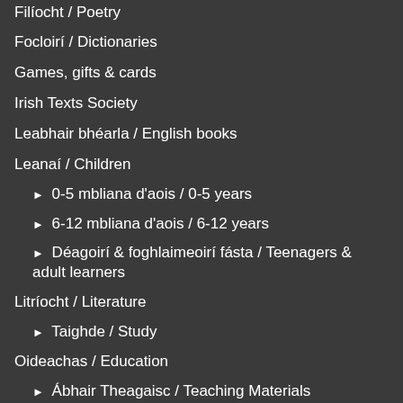Filíocht / Poetry
Focloirí / Dictionaries
Games, gifts & cards
Irish Texts Society
Leabhair bhéarla / English books
Leanaí / Children
▶ 0-5 mbliana d'aois / 0-5 years
▶ 6-12 mbliana d'aois / 6-12 years
▶ Déagoirí & foghlaimeoirí fásta / Teenagers & adult learners
Litríocht / Literature
▶ Taighde / Study
Oideachas / Education
▶ Ábhair Theagaisc / Teaching Materials